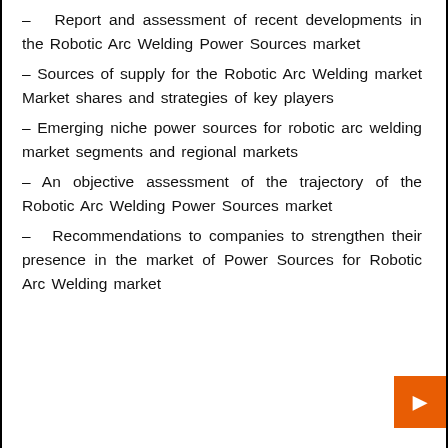– Report and assessment of recent developments in the Robotic Arc Welding Power Sources market
– Sources of supply for the Robotic Arc Welding market Market shares and strategies of key players
– Emerging niche power sources for robotic arc welding market segments and regional markets
– An objective assessment of the trajectory of the Robotic Arc Welding Power Sources market
– Recommendations to companies to strengthen their presence in the market of Power Sources for Robotic Arc Welding market